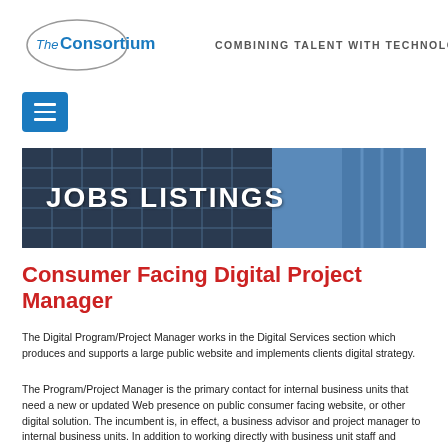[Figure (logo): The Consortium logo with oval shape and tagline COMBINING TALENT WITH TECHNOLOGY]
[Figure (screenshot): Blue hamburger/menu button]
[Figure (photo): Jobs Listings banner with building/architecture background and white text JOBS LISTINGS]
Consumer Facing Digital Project Manager
The Digital Program/Project Manager works in the Digital Services section which produces and supports a large public website and implements clients digital strategy.
The Program/Project Manager is the primary contact for internal business units that need a new or updated Web presence on public consumer facing website, or other digital solution. The incumbent is, in effect, a business advisor and project manager to internal business units. In addition to working directly with business unit staff and management, s/he interacts with client Product